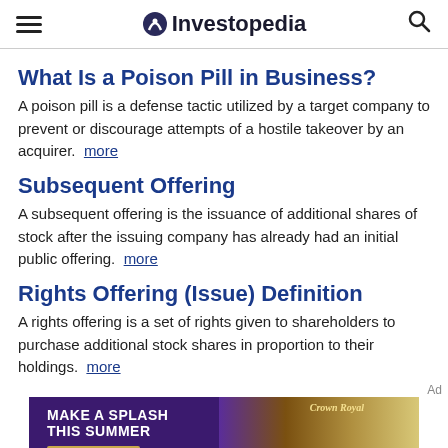Investopedia
What Is a Poison Pill in Business?
A poison pill is a defense tactic utilized by a target company to prevent or discourage attempts of a hostile takeover by an acquirer. more
Subsequent Offering
A subsequent offering is the issuance of additional shares of stock after the issuing company has already had an initial public offering. more
Rights Offering (Issue) Definition
A rights offering is a set of rights given to shareholders to purchase additional stock shares in proportion to their holdings. more
[Figure (photo): Advertisement banner: Make A Splash This Summer - Crown Royal whisky ad with purple background and golden button]